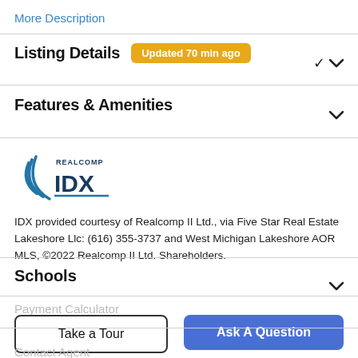More Description
Listing Details  Updated 70 min ago
Features & Amenities
[Figure (logo): Realcomp IDX logo — blue wave graphic with REALCOMP text above and IDX in large bold letters]
IDX provided courtesy of Realcomp II Ltd., via Five Star Real Estate Lakeshore Llc: (616) 355-3737 and West Michigan Lakeshore AOR MLS, ©2022 Realcomp II Ltd. Shareholders.
Schools
Payment Calculator
Take a Tour
Ask A Question
Contact Agent